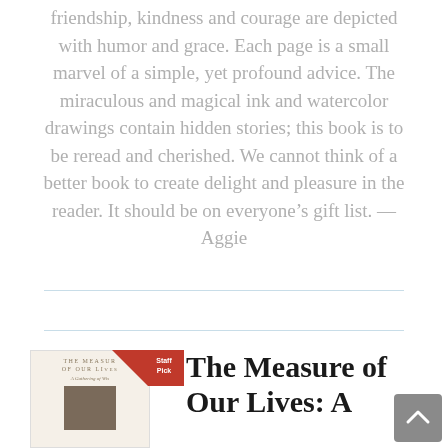friendship, kindness and courage are depicted with humor and grace. Each page is a small marvel of a simple, yet profound advice. The miraculous and magical ink and watercolor drawings contain hidden stories; this book is to be reread and cherished. We cannot think of a better book to create delight and pleasure in the reader. It should be on everyone's gift list. —Aggie
[Figure (illustration): Book cover of 'The Measure of Our Lives' with a photo of a person on the lower portion, small text title at top]
The Measure of Our Lives: A